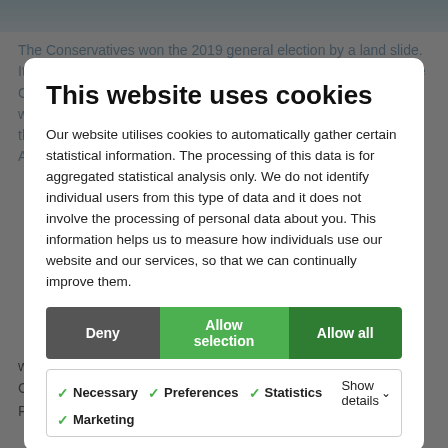[Figure (screenshot): Background image strip at top of page]
The Conservatives won the 2019 general election by a land slide. It was dubbed a Brexit vote, Labour brought a radical majority, the British public want to get Brexit done. At the time of writing (08:30), with just one seat left to be declared, the Conservative Party have gained 47 seats, whilst the Labour Party have lost 59.

Brexit has dominated many agendas for the past three years and led to political paralysis. Boris Johnson's majority will
This website uses cookies
Our website utilises cookies to automatically gather certain statistical information. The processing of this data is for aggregated statistical analysis only. We do not identify individual users from this type of data and it does not involve the processing of personal data about you. This information helps us to measure how individuals use our website and our services, so that we can continually improve them.
Deny | Allow selection | Allow all
✓ Necessary  ✓ Preferences  ✓ Statistics  ✓ Marketing  Show details